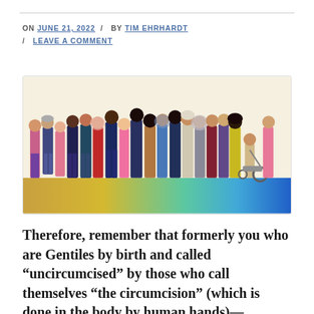ON JUNE 21, 2022 / BY TIM EHRHARDT / LEAVE A COMMENT
[Figure (illustration): Illustration of a diverse group of people of different ethnicities, ages, and abilities standing together against a rainbow-colored gradient background. Includes a person in a wheelchair on the right side.]
Therefore, remember that formerly you who are Gentiles by birth and called “uncircumcised” by those who call themselves “the circumcision” (which is done in the body by human hands)—